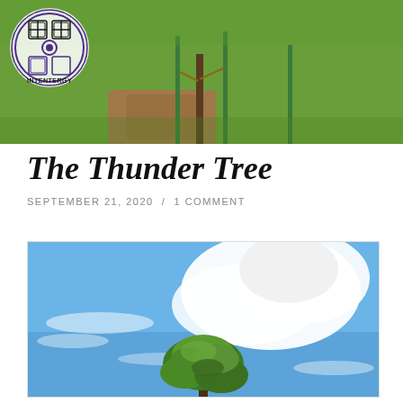[Figure (photo): Header photo showing a young tree sapling supported by green metal stakes in a grassy lawn, viewed from ground level. An Intentergy logo (purple Celtic knot design with text) overlays the top-left corner.]
The Thunder Tree
SEPTEMBER 21, 2020 / 1 COMMENT
[Figure (photo): Photograph taken from below looking up at a small leafy tree top against a bright blue sky with large white cumulus clouds.]